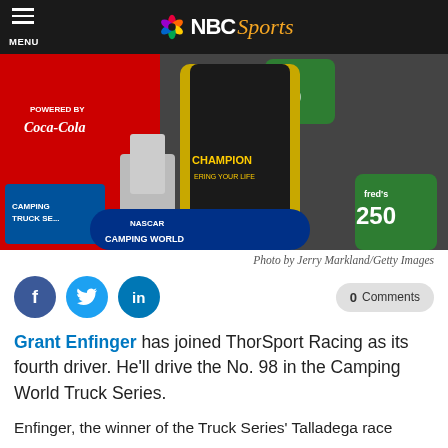NBC Sports
[Figure (photo): NASCAR driver Grant Enfinger posing with a trophy at Talladega, wearing a black and yellow Champion suit, in front of NASCAR Camping World Truck Series and Fred's 250 race signage.]
Photo by Jerry Markland/Getty Images
Grant Enfinger has joined ThorSport Racing as its fourth driver. He'll drive the No. 98 in the Camping World Truck Series.
Enfinger, the winner of the Truck Series' Talladega race